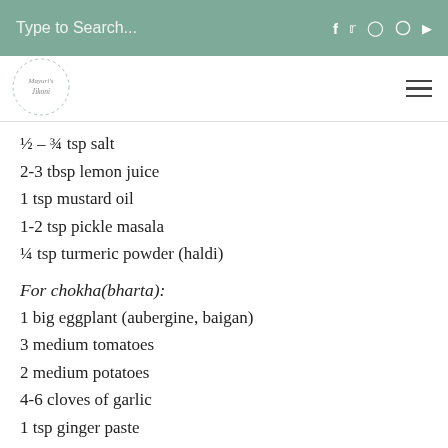Type to Search...
½ – ¾ tsp salt
2-3 tbsp lemon juice
1 tsp mustard oil
1-2 tsp pickle masala
¼ tsp turmeric powder (haldi)
For chokha(bharta):
1 big eggplant (aubergine, baigan)
3 medium tomatoes
2 medium potatoes
4-6 cloves of garlic
1 tsp ginger paste
1-2 finely chopped green chillis
¼ cup finely chopped fresh coriander
2 medium onions finely chopped